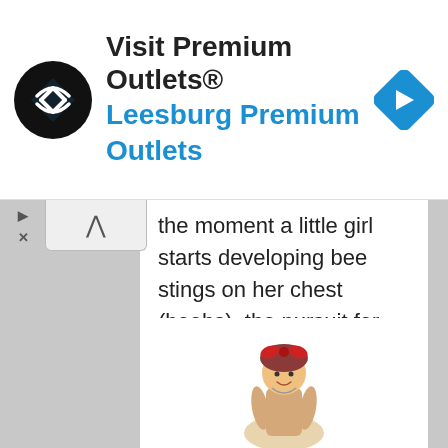[Figure (screenshot): Advertisement banner for Visit Premium Outlets® - Leesburg Premium Outlets with logo and navigation icon]
the moment a little girl starts developing bee stings on her chest (boobs), the pursuit for her starts and will literally carry on till the day she dies.  There probably aren't too many women in the world that can go one day without a man hitting on them.  Women should know and understand this and appreciate the most important treasure they possess.  But some women will treat this treasure as a weapon in an effort to control a man.  And this is where the problems begin for women...not necessarily the man.
[Figure (illustration): Retro pin-up style illustration of a woman with red hair bow]